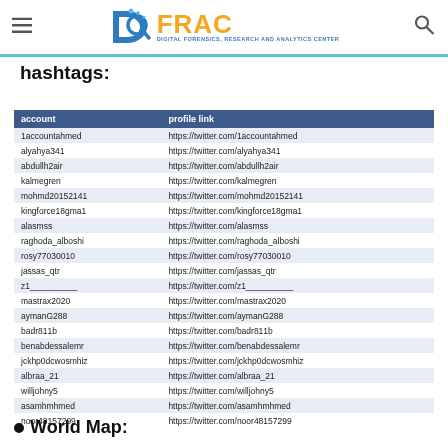DFRAC - Digital Forensics, Research and Analytics Center
hashtags:
| account | profile link |
| --- | --- |
| 1accountahmed | https://twitter.com/1accountahmed |
| alyahya341 | https://twitter.com/alyahya341 |
| abdullh2air | https://twitter.com/abdullh2air |
| kalmegren | https://twitter.com/kalmegren |
| mohmd20152141 | https://twitter.com/mohmd20152141 |
| kingforce18gma1 | https://twitter.com/kingforce18gma1 |
| alasmss | https://twitter.com/alasmss |
| raghoda_alboshi | https://twitter.com/raghoda_alboshi |
| rosy77030010 | https://twitter.com/rosy77030010 |
| jassas_qtr | https://twitter.com/jassas_qtr |
| z1__________ | https://twitter.com/z1__________ |
| mastrax2020 | https://twitter.com/mastrax2020 |
| aymanG288 | https://twitter.com/aymanG288 |
| badr811b | https://twitter.com/badr811b |
| benabdessalemr | https://twitter.com/benabdessalemr |
| jckhp0dcwosmhiz | https://twitter.com/jckhp0dcwosmhiz |
| albraa_21 | https://twitter.com/albraa_21 |
| willjohny5 | https://twitter.com/willjohny5 |
| asamhmhmed | https://twitter.com/asamhmhmed |
| noor48157299 | https://twitter.com/noor48157299 |
World Map: